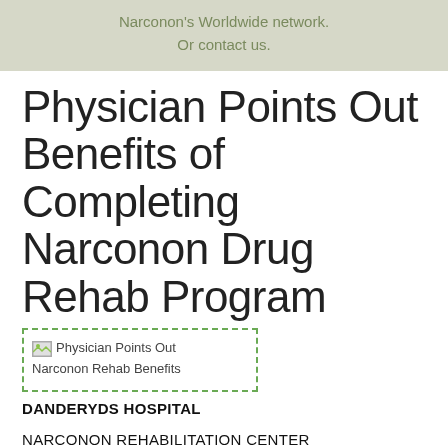Narconon's Worldwide network.
Or contact us.
Physician Points Out Benefits of Completing Narconon Drug Rehab Program
[Figure (photo): Image placeholder showing 'Physician Points Out Narconon Rehab Benefits' with a broken image icon, framed by a dashed green border]
DANDERYDS HOSPITAL
NARCONON REHABILITATION CENTER
HUDDINGE, SWEDEN
...